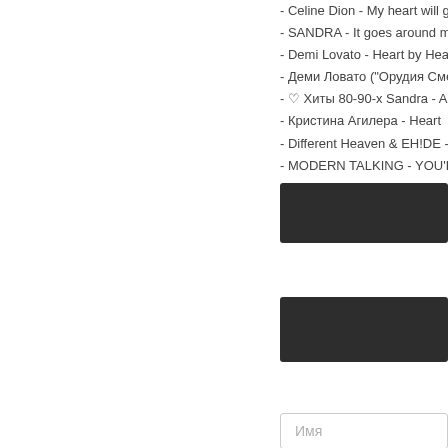- Celine Dion - My heart will go o...
- SANDRA - It goes around my he...
- Demi Lovato - Heart by Heart (F...
- Деми Ловато ("Орудия Смерти...
- ♡ Хиты 80-90-х Sandra - Aroun...
- Кристина Агилера - Heart
- Different Heaven & EH!DE - My ...
- MODERN TALKING - YOU'RE M...
- Demi Lovato - Heart By Heart (O...
[Figure (other): Dark/black UI button block 1]
[Figure (other): Dark/black UI button block 2]
Имя
Text input area (textarea)